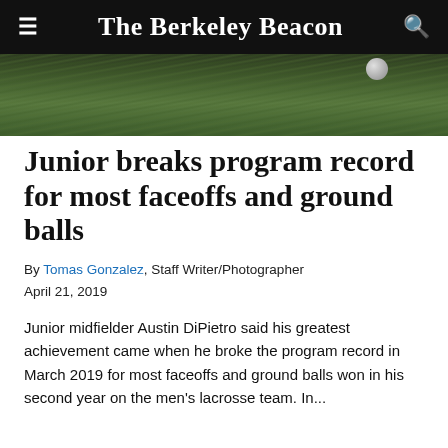The Berkeley Beacon
[Figure (photo): Outdoor grass field photo, likely a lacrosse field, with green turf visible and a ball in the upper right area.]
Junior breaks program record for most faceoffs and ground balls
By Tomas Gonzalez, Staff Writer/Photographer
April 21, 2019
Junior midfielder Austin DiPietro said his greatest achievement came when he broke the program record in March 2019 for most faceoffs and ground balls won in his second year on the men's lacrosse team. In...